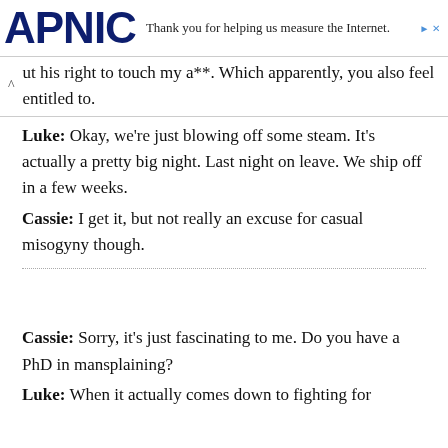APNIC — Thank you for helping us measure the Internet.
ut his right to touch my a**. Which apparently, you also feel entitled to.
Luke: Okay, we're just blowing off some steam. It's actually a pretty big night. Last night on leave. We ship off in a few weeks.
Cassie: I get it, but not really an excuse for casual misogyny though.
Cassie: Sorry, it's just fascinating to me. Do you have a PhD in mansplaining?
Luke: When it actually comes down to fighting for